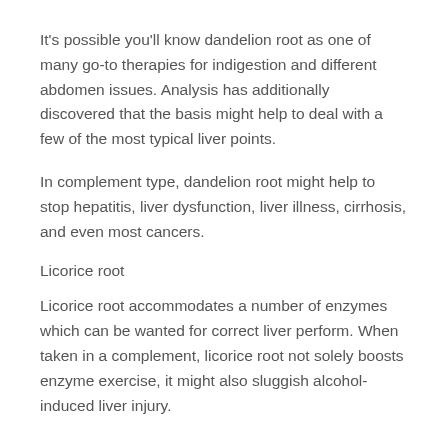It's possible you'll know dandelion root as one of many go-to therapies for indigestion and different abdomen issues. Analysis has additionally discovered that the basis might help to deal with a few of the most typical liver points.
In complement type, dandelion root might help to stop hepatitis, liver dysfunction, liver illness, cirrhosis, and even most cancers.
Licorice root
Licorice root accommodates a number of enzymes which can be wanted for correct liver perform. When taken in a complement, licorice root not solely boosts enzyme exercise, it might also sluggish alcohol-induced liver injury.